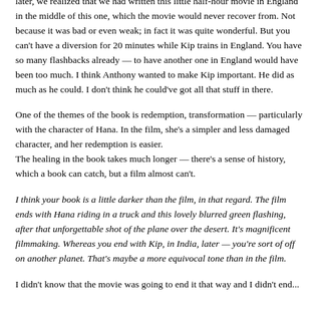later, we realized that we had written this little half-hour movie in England in the middle of this one, which the movie would never recover from. Not because it was bad or even weak; in fact it was quite wonderful. But you can't have a diversion for 20 minutes while Kip trains in England. You have so many flashbacks already — to have another one in England would have been too much. I think Anthony wanted to make Kip important. He did as much as he could. I don't think he could've got all that stuff in there.
One of the themes of the book is redemption, transformation — particularly with the character of Hana. In the film, she's a simpler and less damaged character, and her redemption is easier.
The healing in the book takes much longer — there's a sense of history, which a book can catch, but a film almost can't.
I think your book is a little darker than the film, in that regard. The film ends with Hana riding in a truck and this lovely blurred green flashing, after that unforgettable shot of the plane over the desert. It's magnificent filmmaking. Whereas you end with Kip, in India, later — you're sort of off on another planet. That's maybe a more equivocal tone than in the film.
I didn't know that the movie was going to end it that way and I didn't end...